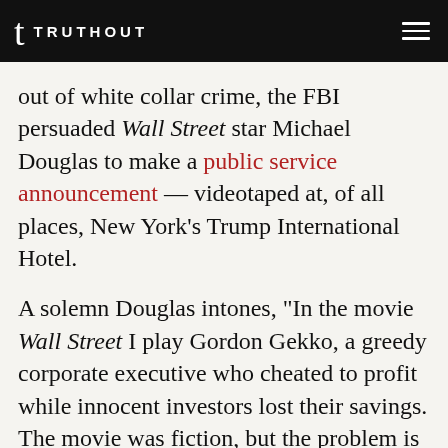TRUTHOUT
out of white collar crime, the FBI persuaded Wall Street star Michael Douglas to make a public service announcement — videotaped at, of all places, New York's Trump International Hotel.
A solemn Douglas intones, "In the movie Wall Street I play Gordon Gekko, a greedy corporate executive who cheated to profit while innocent investors lost their savings. The movie was fiction, but the problem is real. Our economy is increasingly dependent on the success and integrity of the financial markets. If a deal looks